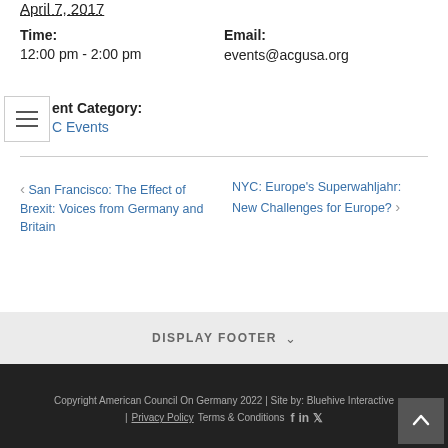April 7, 2017
Time:
12:00 pm - 2:00 pm
Email:
events@acgusa.org
ent Category:
C Events
‹ San Francisco: The Effect of Brexit: Voices from Germany and Britain
NYC: Europe's Superwahljahr: New Challenges for Europe? ›
DISPLAY FOOTER ˅
Copyright American Council On Germany 2022 | Site by: Bluehive Interactive
| Privacy Policy   Terms & Conditions
[Figure (other): Back to top button with upward arrow]